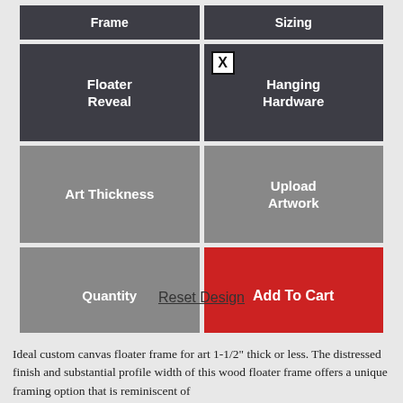[Figure (screenshot): UI configurator grid with buttons: Frame (top-left, dark), Sizing (top-right, dark), Floater Reveal (dark), Hanging Hardware with checkbox (dark), Art Thickness (medium gray), Upload Artwork (medium gray), Quantity (medium gray), Add To Cart (red)]
Reset Design
Ideal custom canvas floater frame for art 1-1/2" thick or less. The distressed finish and substantial profile width of this wood floater frame offers a unique framing option that is reminiscent of